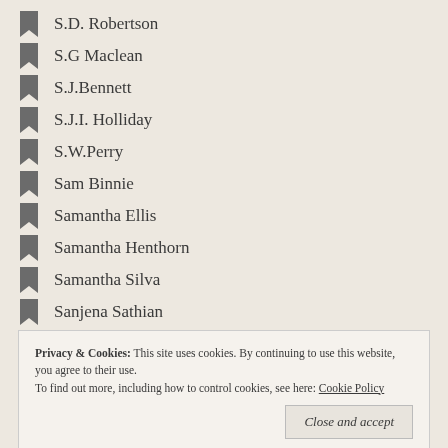S.D. Robertson
S.G Maclean
S.J.Bennett
S.J.I. Holliday
S.W.Perry
Sam Binnie
Samantha Ellis
Samantha Henthorn
Samantha Silva
Sanjena Sathian
Sara Collins
Sara Gethin
Sarah Bla... [partially visible]
Privacy & Cookies:  This site uses cookies. By continuing to use this website, you agree to their use.
To find out more, including how to control cookies, see here: Cookie Policy
Sarah Jio